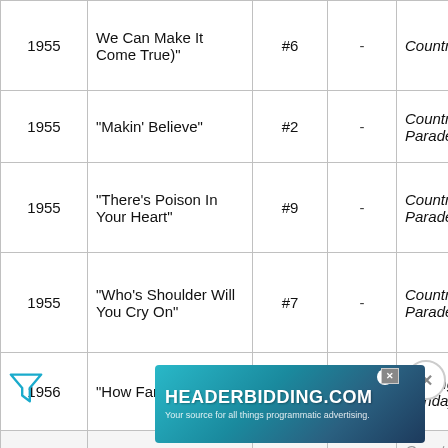| Year | Title | Chart |  | Album |
| --- | --- | --- | --- | --- |
| 1955 | We Can Make It Come True)" | #6 | - | Country Music |
| 1955 | "Makin' Believe" | #2 | - | Country Hit Parade |
| 1955 | "There's Poison In Your Heart" | #9 | - | Country Hit Parade |
| 1955 | "Who's Shoulder Will You Cry On" | #7 | - | Country Hit Parade |
| 1956 | "How Far Is Heaven" | #11 | - | Singing on Sunday |
| 1956 |  |  |  | Country Hit Parade / Singing on the Road / Country Music Hall of Fame Series |